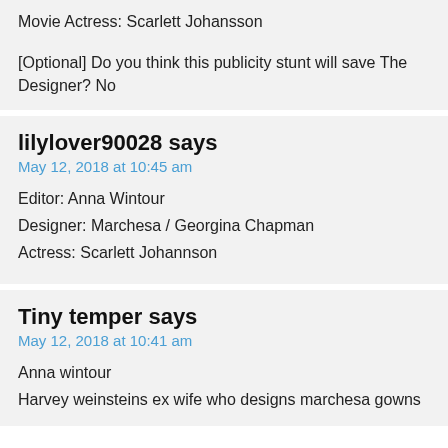Movie Actress: Scarlett Johansson

[Optional] Do you think this publicity stunt will save The Designer? No
lilylover90028 says
May 12, 2018 at 10:45 am
Editor: Anna Wintour
Designer: Marchesa / Georgina Chapman
Actress: Scarlett Johannson
Tiny temper says
May 12, 2018 at 10:41 am
Anna wintour
Harvey weinsteins ex wife who designs marchesa gowns